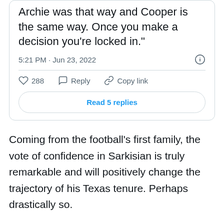[Figure (screenshot): Tweet/X post screenshot showing partial quote text 'Archie was that way and Cooper is the same way. Once you make a decision you're locked in.' posted at 5:21 PM · Jun 23, 2022, with 288 likes, Reply and Copy link actions, and a 'Read 5 replies' button.]
Coming from the football's first family, the vote of confidence in Sarkisian is truly remarkable and will positively change the trajectory of his Texas tenure. Perhaps drastically so.
The recruiting floodgates will now open
Since Manning never had a public timetable for a commitment, it's difficult to say what exactly changed